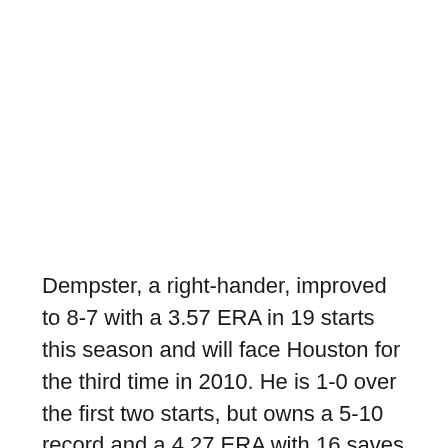Dempster, a right-hander, improved to 8-7 with a 3.57 ERA in 19 starts this season and will face Houston for the third time in 2010. He is 1-0 over the first two starts, but owns a 5-10 record and a 4.27 ERA with 16 saves through 46 career games, 20 of which have been starts, against the Astros.
The Astros won for just the third time in seven tries last night and set the tone with five runs in the first inning.